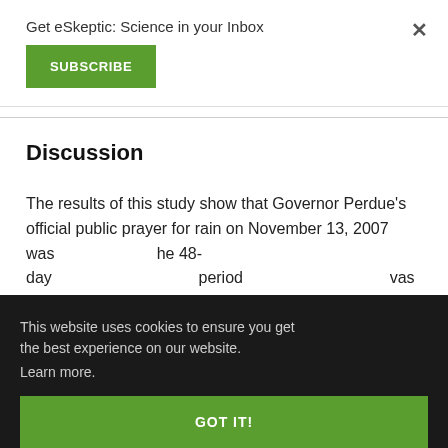Get eSkeptic: Science in your Inbox
SUBSCRIBE
Discussion
The results of this study show that Governor Perdue’s official public prayer for rain on November 13, 2007 was [not statistically significant over] the 48-day [period] [period] [was found] [nd the] [e the] [id! This is]
This website uses cookies to ensure you get the best experience on our website. Learn more.
GOT IT!